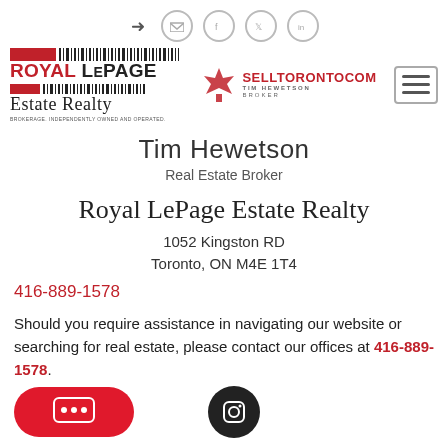[Figure (logo): Top navigation icons: login arrow, email, facebook, twitter, linkedin circles]
[Figure (logo): Royal LePage Estate Realty logo with red bar and barcode design]
[Figure (logo): SellToronto.com Tim Hewetson Broker logo with maple leaf]
[Figure (other): Hamburger menu button]
Tim Hewetson
Real Estate Broker
Royal LePage Estate Realty
1052 Kingston RD
Toronto, ON M4E 1T4
416-889-1578
Should you require assistance in navigating our website or searching for real estate, please contact our offices at 416-889-1578.
[Figure (other): Red chat bubble button at bottom left]
[Figure (other): Black circle Instagram button]